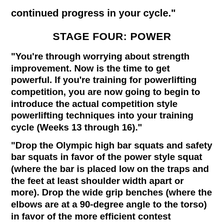continued progress in your cycle."
STAGE FOUR: POWER
"You're through worrying about strength improvement. Now is the time to get powerful. If you're training for powerlifting competition, you are now going to begin to introduce the actual competition style powerlifting techniques into your training cycle (Weeks 13 through 16)."
"Drop the Olympic high bar squats and safety bar squats in favor of the power style squat (where the bar is placed low on the traps and the feet at least shoulder width apart or more). Drop the wide grip benches (where the elbows are at a 90-degree angle to the torso) in favor of the more efficient contest technique. Drop semi-stiff leg deadlifts in favor of the conventional sumo technique."